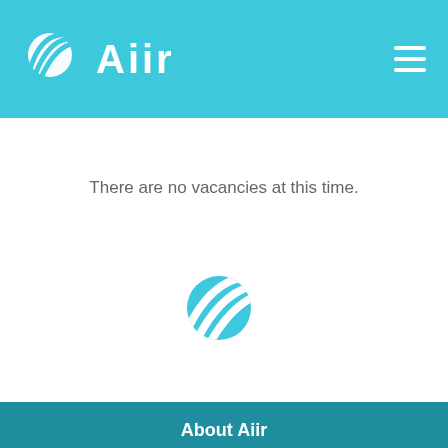Aiir — navigation header with logo and hamburger menu
There are no vacancies at this time.
[Figure (logo): Aiir brand logo icon (globe with wifi-style arcs) centered in white content area]
About Aiir | Blog | Support